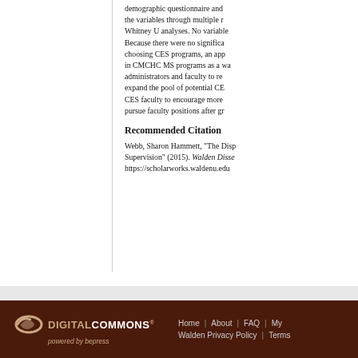demographic questionnaire and the variables through multiple r Whitney U analyses. No variable Because there were no significa choosing CES programs, an app in CMCHC MS programs as a wa administrators and faculty to re expand the pool of potential CE CES faculty to encourage more pursue faculty positions after gr
Recommended Citation
Webb, Sharon Hammett, "The Disp Supervision" (2015). Walden Disse https://scholarworks.waldenu.edu
DIGITAL COMMONS powered by bepress | Home | About | FAQ | My | Walden Privacy Policy | Terms